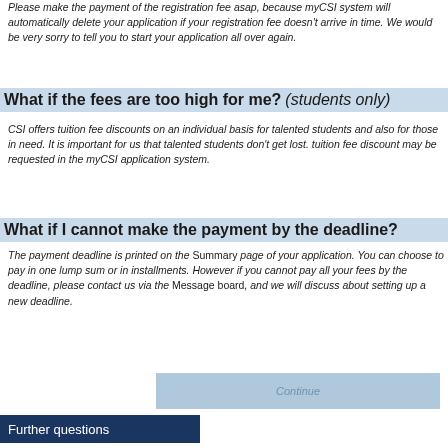Please make the payment of the registration fee asap, because myCSI system will automatically delete your application if your registration fee doesn't arrive in time. We would be very sorry to tell you to start your application all over again.
What if the fees are too high for me? (students only)
CSI offers tuition fee discounts on an individual basis for talented students and also for those in need. It is important for us that talented students don't get lost. tuition fee discount may be requested in the myCSI application system.
What if I cannot make the payment by the deadline?
The payment deadline is printed on the Summary page of your application. You can choose to pay in one lump sum or in installments. However if you cannot pay all your fees by the deadline, please contact us via the Message board, and we will discuss about setting up a new deadline.
[Figure (other): Continue button, light blue background]
Further questions